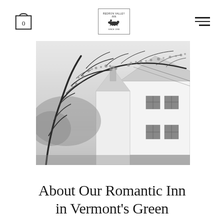Redron Valley Inn — navigation header with cart icon, logo, and hamburger menu
[Figure (photo): Black and white photograph of a white New England inn building seen through bare spring tree branches in the foreground, misty atmospheric background]
About Our Romantic Inn in Vermont's Green